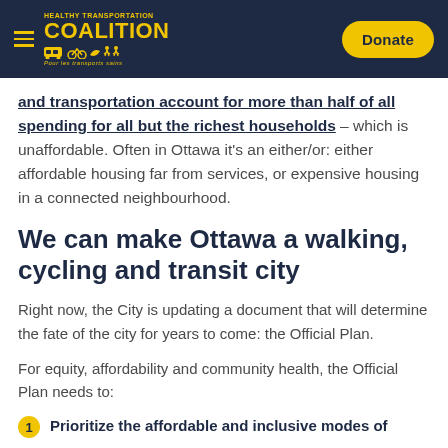Healthy Transportation Coalition – Donate
and transportation account for more than half of all spending for all but the richest households – which is unaffordable. Often in Ottawa it's an either/or: either affordable housing far from services, or expensive housing in a connected neighbourhood.
We can make Ottawa a walking, cycling and transit city
Right now, the City is updating a document that will determine the fate of the city for years to come: the Official Plan.
For equity, affordability and community health, the Official Plan needs to:
Prioritize the affordable and inclusive modes of